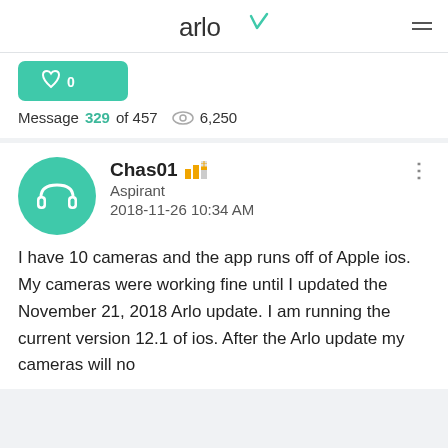arlo
[Figure (other): Green button with heart/like icon showing 0]
Message 329 of 457  6,250
[Figure (other): User avatar: teal circle with white headphones icon]
Chas01
Aspirant
2018-11-26 10:34 AM
I have 10 cameras and the app runs off of Apple ios. My cameras were working fine until I updated the November 21, 2018 Arlo update. I am running the current version 12.1 of ios. After the Arlo update my cameras will no